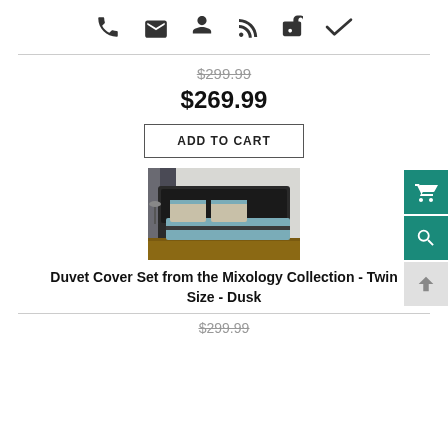[Figure (other): Top navigation icon bar with phone, email, person, RSS, lock, and checkmark icons]
$299.99 (strikethrough original price)
$269.99 (sale price, bold)
ADD TO CART (button)
[Figure (photo): Photo of a teal/blue duvet cover set on a bed with pillows, dark headboard, shown in a bedroom setting]
Duvet Cover Set from the Mixology Collection - Twin Size - Dusk
$299.99 (strikethrough price at bottom)